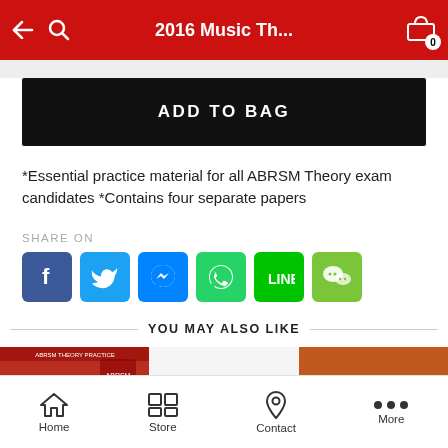2016 Music Th...
ADD TO BAG
*Essential practice material for all ABRSM Theory exam candidates *Contains four separate papers
SHARE ON
[Figure (screenshot): Social sharing buttons: Facebook, Twitter, Messenger, WhatsApp, Line, WeChat]
YOU MAY ALSO LIKE
[Figure (photo): Book cover: Music Theory in Practice Grade 1 by Eric Taylor, red cover with ABRSM logo]
[Figure (other): Search icon placeholder]
[Figure (photo): Book cover: Music Theory in Practice Grade 2 by Eric Taylor, orange cover]
Home  Store  Contact  More